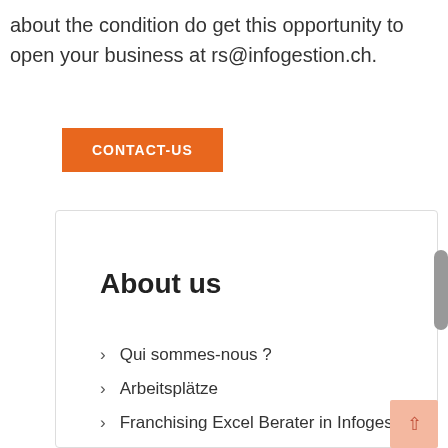about the condition do get this opportunity to open your business at rs@infogestion.ch.
CONTACT-US
About us
Qui sommes-nous ?
Arbeitsplätze
Franchising Excel Berater in Infogestion
Why choose excel?